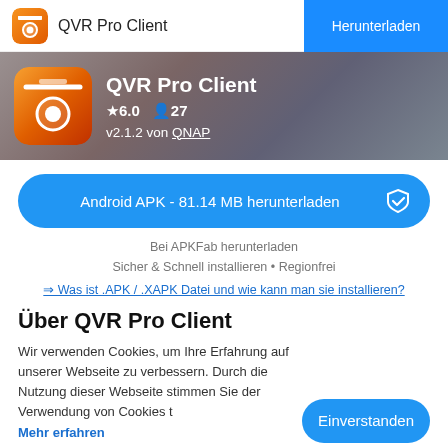QVR Pro Client | Herunterladen
[Figure (screenshot): App store listing page for QVR Pro Client showing app icon, rating 6.0, 27 users, version v2.1.2 by QNAP, download button for Android APK 81.14 MB, and cookie consent overlay]
QVR Pro Client
★6.0  👤27
v2.1.2 von QNAP
Android APK - 81.14 MB herunterladen
Bei APKFab herunterladen
Sicher & Schnell installieren • Regionfrei
⇒ Was ist .APK / .XAPK Datei und wie kann man sie installieren?
Über QVR Pro Client
Wir verwenden Cookies, um Ihre Erfahrung auf unserer Webseite zu verbessern. Durch die Nutzung dieser Webseite stimmen Sie der Verwendung von Cookies t
Mehr erfahren
Einverstanden